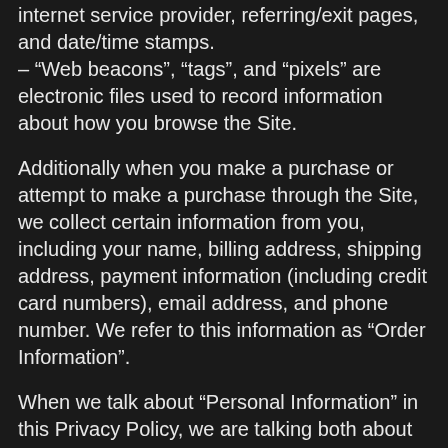internet service provider, referring/exit pages, and date/time stamps.
– “Web beacons”, “tags”, and “pixels” are electronic files used to record information about how you browse the Site.
Additionally when you make a purchase or attempt to make a purchase through the Site, we collect certain information from you, including your name, billing address, shipping address, payment information (including credit card numbers), email address, and phone number. We refer to this information as “Order Information”.
When we talk about “Personal Information” in this Privacy Policy, we are talking both about Device Information and Order Information.